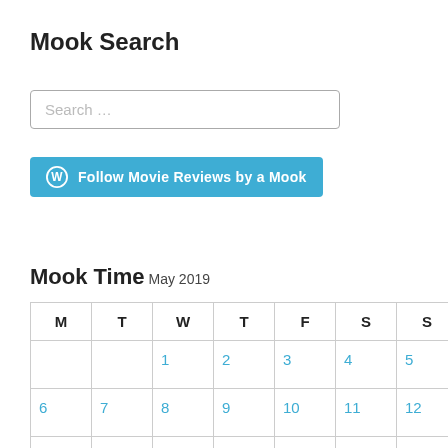Mook Search
[Figure (other): Search input box with placeholder text 'Search …']
[Figure (other): WordPress Follow button: 'Follow Movie Reviews by a Mook']
Mook Time
May 2019
| M | T | W | T | F | S | S |
| --- | --- | --- | --- | --- | --- | --- |
|  |  | 1 | 2 | 3 | 4 | 5 |
| 6 | 7 | 8 | 9 | 10 | 11 | 12 |
| 13 | 14 | 15 | 16 | 17 | 18 | 19 |